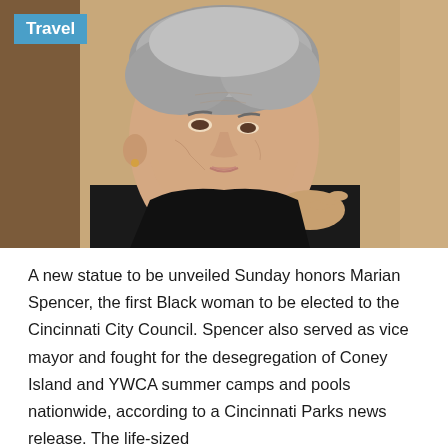[Figure (photo): Portrait photograph of an elderly woman with short grey hair, wearing a dark jacket, looking slightly upward to the left. Background is a warm tan/wood color. A blue 'Travel' label badge appears in the top-left corner of the photo.]
A new statue to be unveiled Sunday honors Marian Spencer, the first Black woman to be elected to the Cincinnati City Council. Spencer also served as vice mayor and fought for the desegregation of Coney Island and YWCA summer camps and pools nationwide, according to a Cincinnati Parks news release. The life-sized